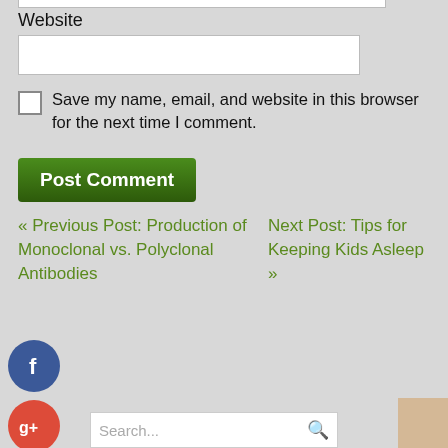Website
Save my name, email, and website in this browser for the next time I comment.
Post Comment
« Previous Post: Production of Monoclonal vs. Polyclonal Antibodies
Next Post: Tips for Keeping Kids Asleep »
[Figure (illustration): Facebook social share button (blue circle with white 'f')]
[Figure (illustration): Google+ social share button (red circle with white 'g+')]
Search...
Categories
[Figure (illustration): Twitter social share button (blue circle with white bird icon)]
[Figure (illustration): Add/Plus social share button (dark blue circle with white plus icon)]
og
Business And Management
Education
Health and Fitness